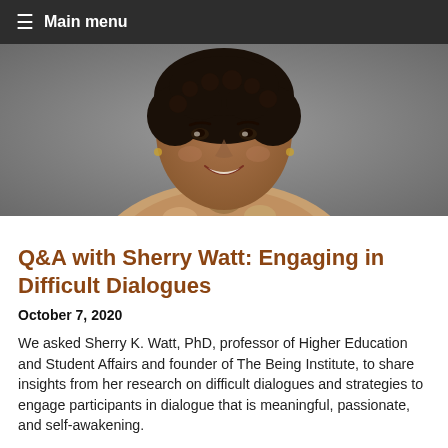☰ Main menu
[Figure (photo): Headshot of Sherry K. Watt, PhD — a smiling Black woman with short natural hair, wearing a floral patterned top, photographed against a grey background.]
Q&A with Sherry Watt: Engaging in Difficult Dialogues
October 7, 2020
We asked Sherry K. Watt, PhD, professor of Higher Education and Student Affairs and founder of The Being Institute, to share insights from her research on difficult dialogues and strategies to engage participants in dialogue that is meaningful, passionate, and self-awakening.